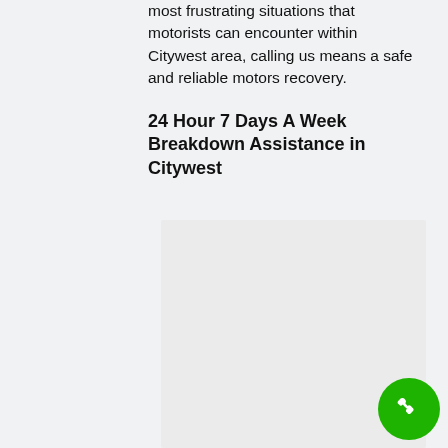most frustrating situations that motorists can encounter within Citywest area, calling us means a safe and reliable motors recovery.
24 Hour 7 Days A Week Breakdown Assistance in Citywest
[Figure (photo): A light gray placeholder image block representing a photo related to breakdown assistance in Citywest.]